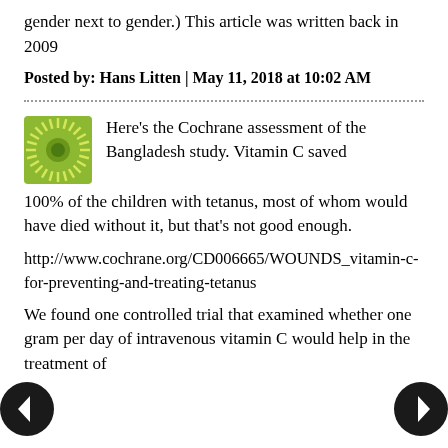gender next to gender.) This article was written back in 2009
Posted by: Hans Litten | May 11, 2018 at 10:02 AM
[Figure (logo): Green and yellow sunburst logo icon]
Here's the Cochrane assessment of the Bangladesh study. Vitamin C saved 100% of the children with tetanus, most of whom would have died without it, but that's not good enough.
http://www.cochrane.org/CD006665/WOUNDS_vitamin-c-for-preventing-and-treating-tetanus
We found one controlled trial that examined whether one gram per day of intravenous vitamin C would help in the treatment of